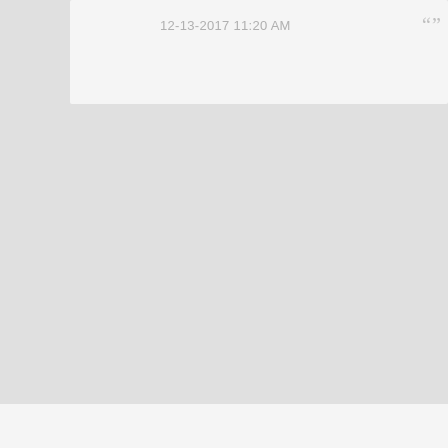12-13-2017 11:20 AM
[Figure (screenshot): UI card with timestamp '12-13-2017 11:20 AM', a quote icon, a heart icon, and a green circular badge with '0']